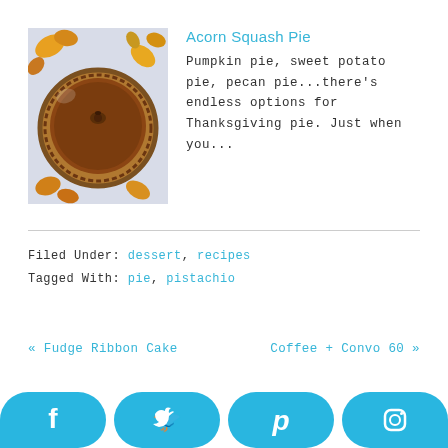[Figure (photo): Photo of an acorn squash pie in a glass dish surrounded by autumn leaves]
Acorn Squash Pie
Pumpkin pie, sweet potato pie, pecan pie...there's endless options for Thanksgiving pie. Just when you...
Filed Under: dessert, recipes
Tagged With: pie, pistachio
« Fudge Ribbon Cake
Coffee + Convo 60 »
[Figure (infographic): Social share buttons: Facebook, Twitter, Pinterest, Instagram]